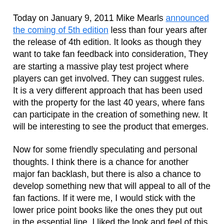Today on January 9, 2011 Mike Mearls announced the coming of 5th edition less than four years after the release of 4th edition. It looks as though they want to take fan feedback into consideration, They are starting a massive play test project where players can get involved. They can suggest rules. It is a very different approach that has been used with the property for the last 40 years, where fans can participate in the creation of something new. It will be interesting to see the product that emerges.
Now for some friendly speculating and personal thoughts. I think there is a chance for another major fan backlash, but there is also a chance to develop something new that will appeal to all of the fan factions. If it were me, I would stick with the lower price point books like the ones they put out in the essential line. I liked the look and feel of this. also I think they should look at a very good intro product, more closely resembling the Pathfinder beginner box than anything to come out from D&D in the last 10 or so years. This will be a coo for them. I have a feeling they will go this direction though. I also think we will see a real “looking back” feel,  with the 40th anniversary of the property just around